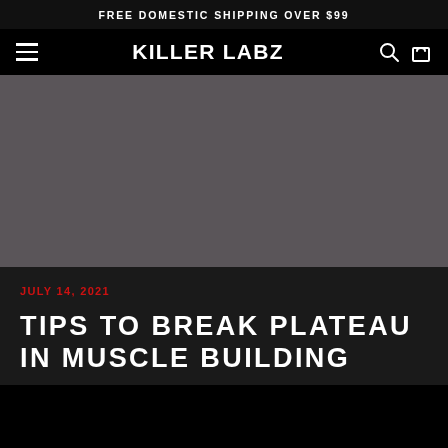FREE DOMESTIC SHIPPING OVER $99
KILLER LABZ
[Figure (photo): Dark grey hero image placeholder for blog article]
JULY 14, 2021
TIPS TO BREAK PLATEAU IN MUSCLE BUILDING